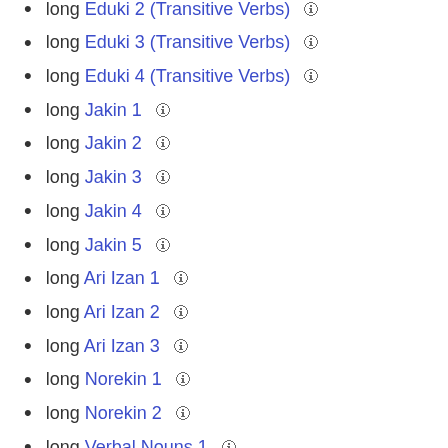long Eduki 2 (Transitive Verbs) 🛈
long Eduki 3 (Transitive Verbs) 🛈
long Eduki 4 (Transitive Verbs) 🛈
long Jakin 1 🛈
long Jakin 2 🛈
long Jakin 3 🛈
long Jakin 4 🛈
long Jakin 5 🛈
long Ari Izan 1 🛈
long Ari Izan 2 🛈
long Ari Izan 3 🛈
long Norekin 1 🛈
long Norekin 2 🛈
long Verbal Nouns 1 🛈
long Verbal Nouns 2 🛈
long Verbal Nouns 3 🛈